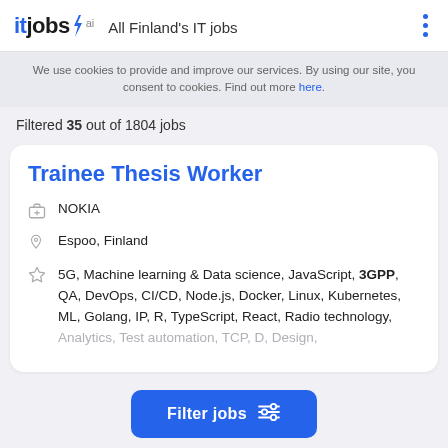itjobs.ai — All Finland's IT jobs
We use cookies to provide and improve our services. By using our site, you consent to cookies. Find out more here.
Filtered 35 out of 1804 jobs
Trainee Thesis Worker
NOKIA
Espoo, Finland
5G, Machine learning & Data science, JavaScript, 3GPP, QA, DevOps, CI/CD, Node.js, Docker, Linux, Kubernetes, ML, Golang, IP, R, TypeScript, React, Radio technology, Analytics, Test automation, TCP, D, Design,